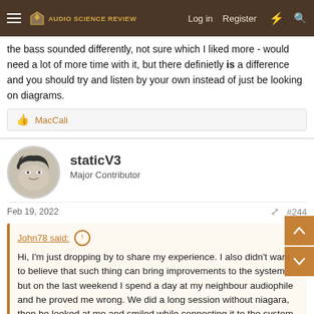Audio Science Review — Log in | Register
the bass sounded differently, not sure which I liked more - would need a lot of more time with it, but there definietly is a difference and you should try and listen by your own instead of just be looking on diagrams.
👍 MacCali
staticV3
Major Contributor
Feb 19, 2022   #244
John78 said: ↑
Hi, I'm just dropping by to share my experience. I also didn't want to believe that such thing can bring improvements to the system, but on the last weekend I spend a day at my neighbour audiophile and he proved me wrong. We did a long session without niagara, then he looked at me and smiled while connecting it to the system, because he know what is going to happen and on the very first song a bigger...